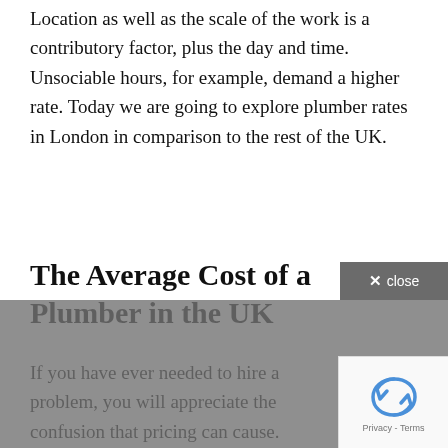Location as well as the scale of the work is a contributory factor, plus the day and time. Unsociable hours, for example, demand a higher rate. Today we are going to explore plumber rates in London in comparison to the rest of the UK.
The Average Cost of a Plumber in the UK
If you have ever needed to hire a problem, you will appreciate the confusion that pricing can cause. There is not one fixed, definitive price for plumbing services. Rather, different companies and tradespeople will charge